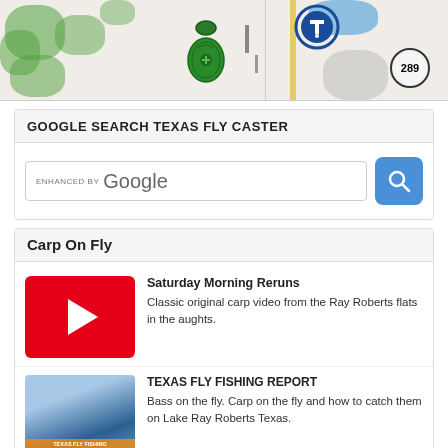[Figure (map): Map showing green areas, water body, road, icons including a green jar/canteen icon, a blue circular icon, and a highway 289 badge marker]
GOOGLE SEARCH TEXAS FLY CASTER
[Figure (screenshot): Google search bar with 'enhanced by Google' text and a blue search button with magnifying glass icon]
Carp On Fly
[Figure (photo): YouTube red play button thumbnail]
Saturday Morning Reruns
Classic original carp video from the Ray Roberts flats in the aughts.
[Figure (photo): Fishing report thumbnail with man and text overlay]
TEXAS FLY FISHING REPORT
Bass on the fly. Carp on the fly and how to catch them on Lake Ray Roberts Texas.